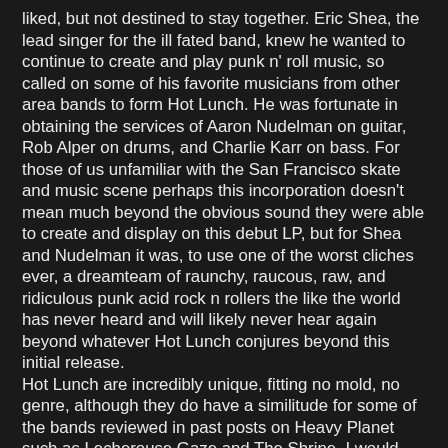liked, but not destined to stay together. Eric Shea, the lead singer for the ill fated band, knew he wanted to continue to create and play punk n' roll music, so called on some of his favorite musicians from other area bands to form Hot Lunch. He was fortunate in obtaining the services of Aaron Nudelman on guitar, Rob Alper on drums, and Charlie Karr on bass. For those of us unfamiliar with the San Francisco skate and music scene perhaps this incorporation doesn't mean much beyond the obvious sound they were able to create and display on this debut LP, but for Shea and Nudelman it was, to use one of the worst cliches ever, a dreamteam of raunchy, raucous, raw, and ridiculous punk acid rock n rollers the like the world has never heard and will likely never hear again beyond whatever Hot Lunch conjures beyond this initial release.
Hot Lunch are incredibly unique, fitting no mold, no genre, although they do have a similitude for some of the bands reviewed in past posts on Heavy Planet such as Lecherouse Gaze and The Shrine. I would even say there is some similarity to Admiral Sir Cloudesly Shovell. Similarity means only sharing some aspects. Hot Lunch are an incredible